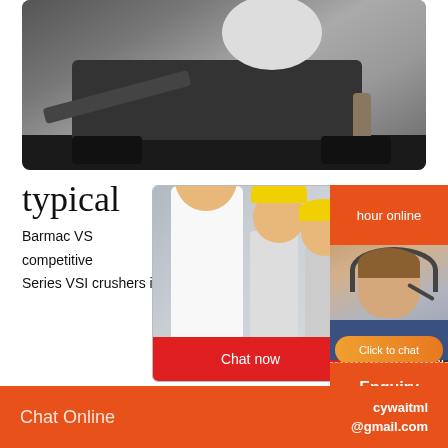[Figure (photo): Large industrial rock crusher / mobile crushing machine on tracks, photographed outdoors at a construction or mining site]
typical
Barmac VS
competitive
Series VSI crushers incorporate rock-on-ro
[Figure (screenshot): Live chat popup overlay with workers in hard hats on left, LIVE CHAT heading in red, 'Click for a Free Consultation' text, Chat now and Chat later buttons]
[Figure (photo): Customer service agent wearing headset with 'hour online' label and orange panel on right side]
Click to chat
Enquiry
Chat Online
cywaitml @gmail.com